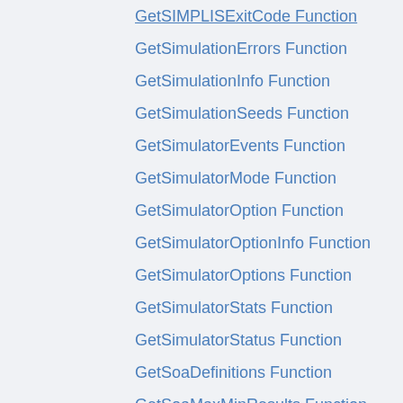GetSIMPLISExitCode Function
GetSimulationErrors Function
GetSimulationInfo Function
GetSimulationSeeds Function
GetSimulatorEvents Function
GetSimulatorMode Function
GetSimulatorOption Function
GetSimulatorOptionInfo Function
GetSimulatorOptions Function
GetSimulatorStats Function
GetSimulatorStatus Function
GetSoaDefinitions Function
GetSoaMaxMinResults Function
GetSoaOverloadResults Function
GetSoaResults Function